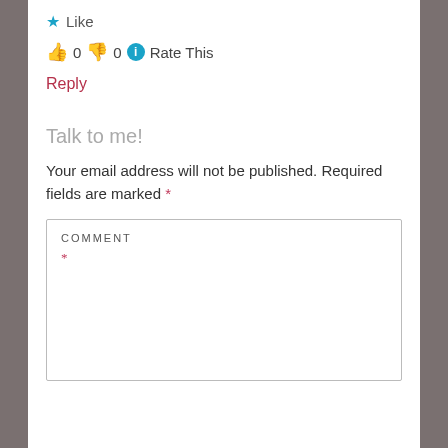★ Like
👍 0 👎 0 ℹ Rate This
Reply
Talk to me!
Your email address will not be published. Required fields are marked *
COMMENT *